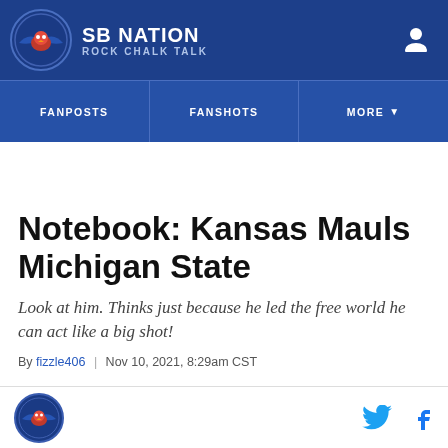SB NATION | ROCK CHALK TALK
Notebook: Kansas Mauls Michigan State
Look at him. Thinks just because he led the free world he can act like a big shot!
By fizzle406 | Nov 10, 2021, 8:29am CST